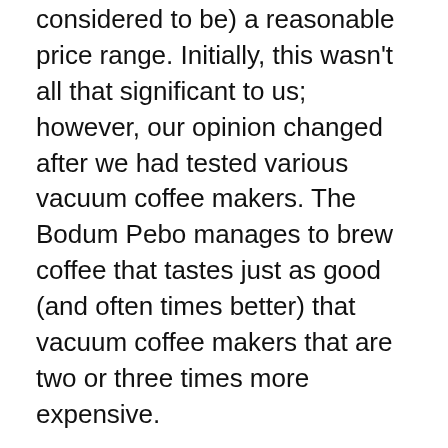considered to be) a reasonable price range. Initially, this wasn't all that significant to us; however, our opinion changed after we had tested various vacuum coffee makers. The Bodum Pebo manages to brew coffee that tastes just as good (and often times better) that vacuum coffee makers that are two or three times more expensive.
When it comes to coffee makers and other appliances, we have to wonder what the manufacturer had to sacrifice in order to make their product cheaper for consumers.
In this regard, the most noticeable thing about the Bodum Pebo is the fact that it has one of